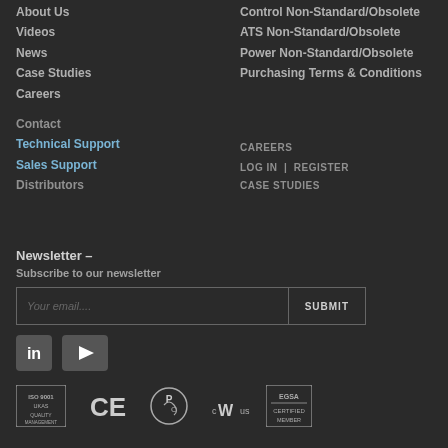About Us
Videos
News
Case Studies
Careers
Contact
Technical Support
Sales Support
Distributors
Control Non-Standard/Obsolete
ATS Non-Standard/Obsolete
Power Non-Standard/Obsolete
Purchasing Terms & Conditions
CAREERS
LOG IN | REGISTER
CASE STUDIES
Newsletter –
Subscribe to our newsletter
Your email....
SUBMIT
[Figure (logo): LinkedIn social media icon - blue square with 'in' text]
[Figure (logo): YouTube social media icon - dark square with play triangle]
[Figure (logo): ISO/UKAS certification badge]
[Figure (logo): CE mark certification]
[Figure (logo): EAC/GOST R certification mark]
[Figure (logo): UL certification mark cULus]
[Figure (logo): EGSA certification badge]